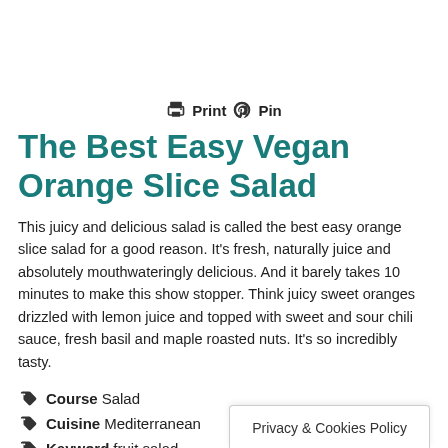Print  Pin
The Best Easy Vegan Orange Slice Salad
This juicy and delicious salad is called the best easy orange slice salad for a good reason. It's fresh, naturally juice and absolutely mouthwateringly delicious. And it barely takes 10 minutes to make this show stopper. Think juicy sweet oranges drizzled with lemon juice and topped with sweet and sour chili sauce, fresh basil and maple roasted nuts. It's so incredibly tasty.
Course  Salad
Cuisine  Mediterranean
Keyword  fruit salad
Prep Time  10 min
Privacy & Cookies Policy